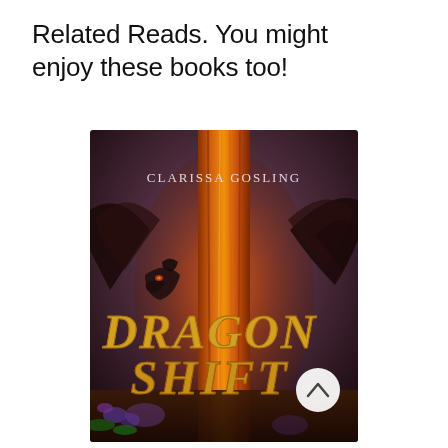Related Reads. You might enjoy these books too!
[Figure (illustration): Book cover of 'Dragon Shift' by Clarissa Gosling. Dark fantasy cover featuring a large dragon with wings spread around a glowing orange/gold tree or pillar in the center. The title 'Dragon Shift' is displayed in large gold stylized letters at the bottom. The author name 'Clarissa Gosling' appears in white serif letters near the top. Purple/brown atmospheric background with glowing flowers at the bottom.]